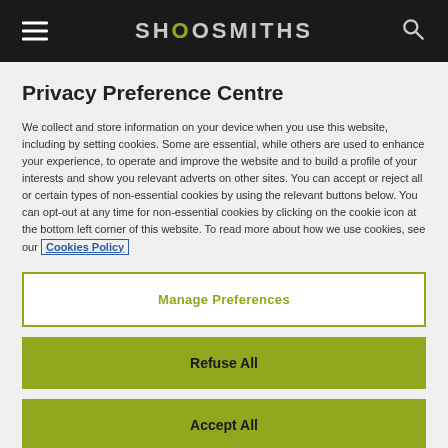SHOOSMITHS
Privacy Preference Centre
We collect and store information on your device when you use this website, including by setting cookies. Some are essential, while others are used to enhance your experience, to operate and improve the website and to build a profile of your interests and show you relevant adverts on other sites. You can accept or reject all or certain types of non-essential cookies by using the relevant buttons below. You can opt-out at any time for non-essential cookies by clicking on the cookie icon at the bottom left corner of this website. To read more about how we use cookies, see our Cookies Policy
Manage Preferences
Refuse All
Accept All